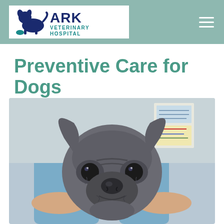ARK VETERINARY HOSPITAL
Preventive Care for Dogs
[Figure (photo): Close-up photo of a young grey/blue French Bulldog puppy with large ears, being held up by a person in blue scrubs in a veterinary clinic setting.]